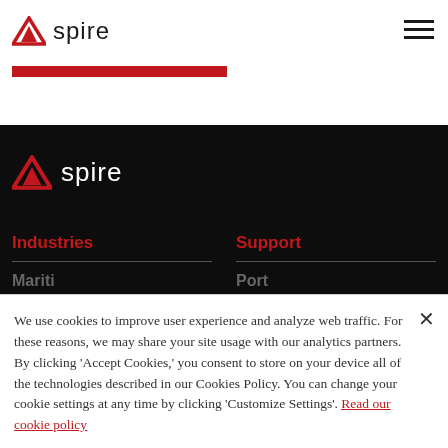Spire logo and navigation header
[Figure (logo): Spire logo with red triangle icon and 'spire' wordmark in dark text, top left of white header bar]
[Figure (illustration): Hamburger menu icon (three horizontal dark lines) in top right corner]
[Figure (illustration): Red horizontal bar beneath logo in header]
[Figure (logo): Spire logo with red triangle icon and 'spire' wordmark in white text, on dark background footer section]
Industries
Support
We use cookies to improve user experience and analyze web traffic. For these reasons, we may share your site usage with our analytics partners. By clicking 'Accept Cookies,' you consent to store on your device all of the technologies described in our Cookies Policy. You can change your cookie settings at any time by clicking 'Customize Settings'. Read our cookie policy